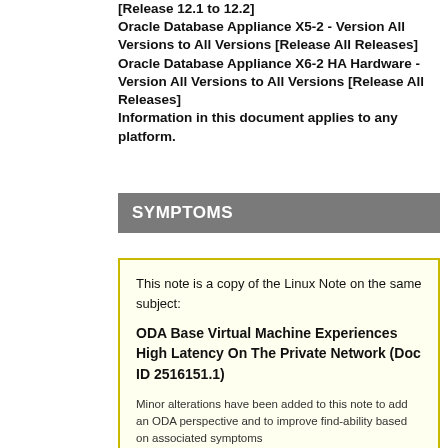[Release 12.1 to 12.2] Oracle Database Appliance X5-2 - Version All Versions to All Versions [Release All Releases] Oracle Database Appliance X6-2 HA Hardware - Version All Versions to All Versions [Release All Releases] Information in this document applies to any platform.
SYMPTOMS
This note is a copy of the Linux Note on the same subject:
ODA Base Virtual Machine Experiences High Latency On The Private Network (Doc ID 2516151.1)
Minor alterations have been added to this note to add an ODA perspective and to improve find-ability based on associated symptoms